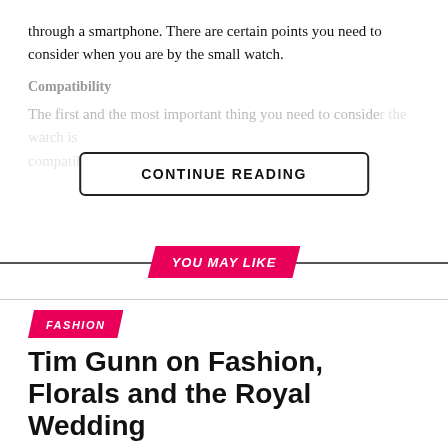through a smartphone. There are certain points you need to consider when you are by the small watch.
Compatibility
The first and the most important thing you need to consider [blurred] watch is [blurred]
CONTINUE READING
YOU MAY LIKE
FASHION
Tim Gunn on Fashion, Florals and the Royal Wedding
Published 3 months ago on June 6, 2022
By Offcce